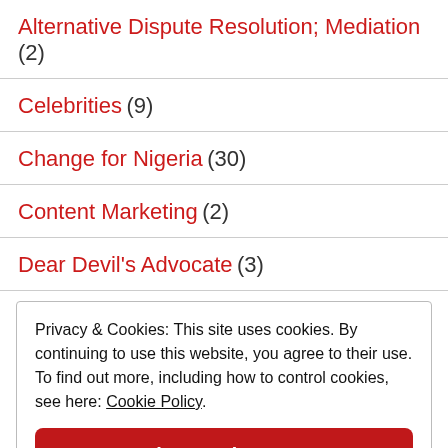Alternative Dispute Resolution; Mediation (2)
Celebrities (9)
Change for Nigeria (30)
Content Marketing (2)
Dear Devil's Advocate (3)
Privacy & Cookies: This site uses cookies. By continuing to use this website, you agree to their use. To find out more, including how to control cookies, see here: Cookie Policy.
Close and accept